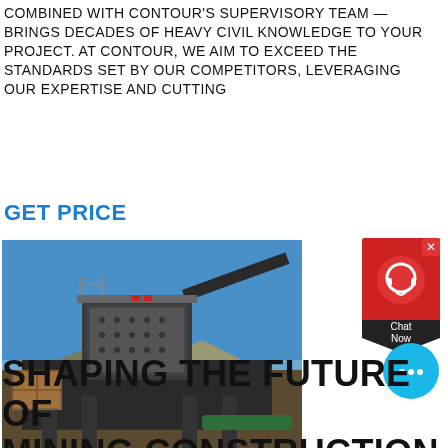COMBINED WITH CONTOUR'S SUPERVISORY TEAM — BRINGS DECADES OF HEAVY CIVIL KNOWLEDGE TO YOUR PROJECT. AT CONTOUR, WE AIM TO EXCEED THE STANDARDS SET BY OUR COMPETITORS, LEVERAGING OUR EXPERTISE AND CUTTING
GET PRICE
[Figure (photo): Large industrial mining construction equipment/crusher structure with conveyor belts set against a blue sky and desert landscape background.]
[Figure (infographic): Chat Now widget with red background, headset icon, and X close button, plus a cyan circular chat bubble icon below.]
SHAPING THE FUTURE OF MINING CONSTRUCTION CONTOUR